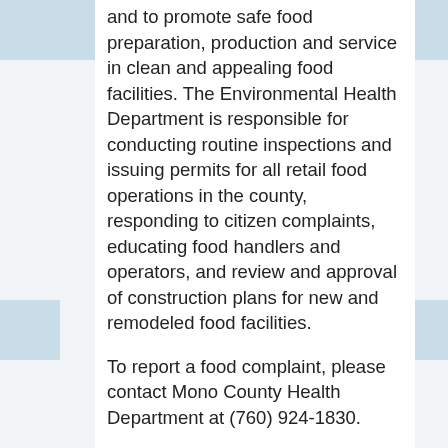and to promote safe food preparation, production and service in clean and appealing food facilities. The Environmental Health Department is responsible for conducting routine inspections and issuing permits for all retail food operations in the county, responding to citizen complaints, educating food handlers and operators, and review and approval of construction plans for new and remodeled food facilities.
To report a food complaint, please contact Mono County Health Department at (760) 924-1830.
For more information on Certified Professional Food Safety Manager Course & Exam click here.